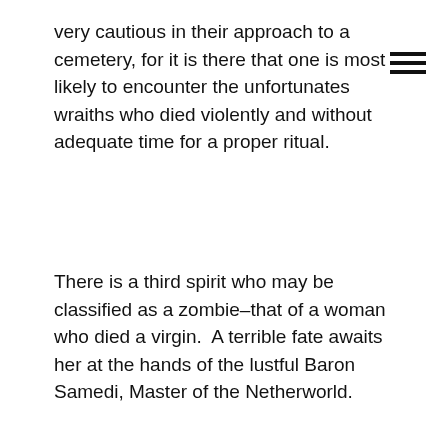very cautious in their approach to a cemetery, for it is there that one is most likely to encounter the unfortunates wraiths who died violently and without adequate time for a proper ritual.
There is a third spirit who may be classified as a zombie–that of a woman who died a virgin.  A terrible fate awaits her at the hands of the lustful Baron Samedi, Master of the Netherworld.